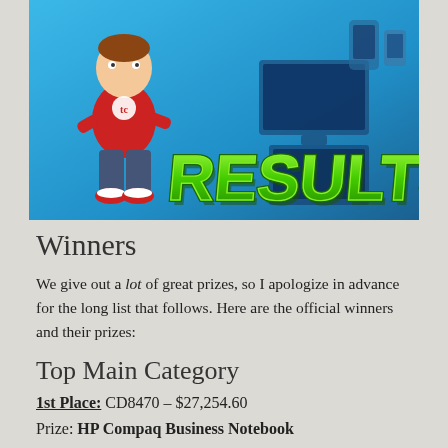[Figure (illustration): Banner image with blue background showing a cartoon boy in a red shirt and jeans with red sneakers, electronics/gadgets in the background, and the word RESULTS in large green 3D letters]
Winners
We give out a lot of great prizes, so I apologize in advance for the long list that follows. Here are the official winners and their prizes:
Top Main Category
1st Place: CD8470 – $27,254.60
Prize: HP Compaq Business Notebook